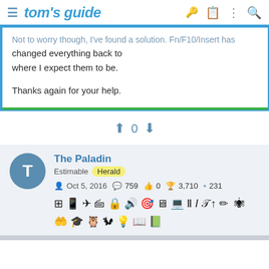tom's guide
Not to worry though, I've found a solution. Fn+F10/Insert has changed everything back to where I expect them to be.

Thanks again for your help.
0
The Paladin
Estimable Herald
Oct 5, 2016  759  0  3,710  231